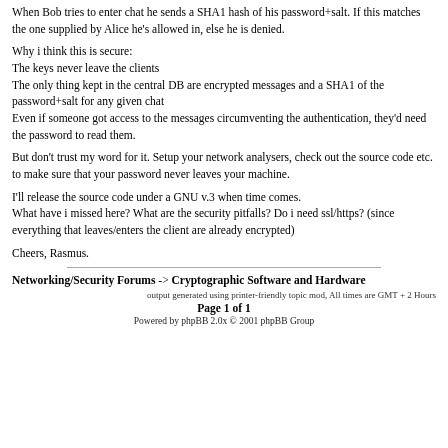When Bob tries to enter chat he sends a SHA1 hash of his password+salt. If this matches the one supplied by Alice he's allowed in, else he is denied.
Why i think this is secure:
The keys never leave the clients
The only thing kept in the central DB are encrypted messages and a SHA1 of the password+salt for any given chat
Even if someone got access to the messages circumventing the authentication, they'd need the password to read them.
But don't trust my word for it. Setup your network analysers, check out the source code etc. to make sure that your password never leaves your machine.
I'll release the source code under a GNU v.3 when time comes.
What have i missed here? What are the security pitfalls? Do i need ssl/https? (since everything that leaves/enters the client are already encrypted)
Cheers, Rasmus.
Networking/Security Forums -> Cryptographic Software and Hardware
output generated using printer-friendly topic mod, All times are GMT + 2 Hours
Page 1 of 1
Powered by phpBB 2.0x © 2001 phpBB Group